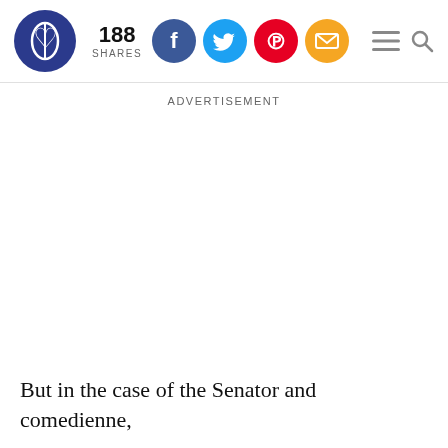188 SHARES [social share icons: Facebook, Twitter, Pinterest, Email] [hamburger menu] [search]
ADVERTISEMENT
But in the case of the Senator and comedienne,